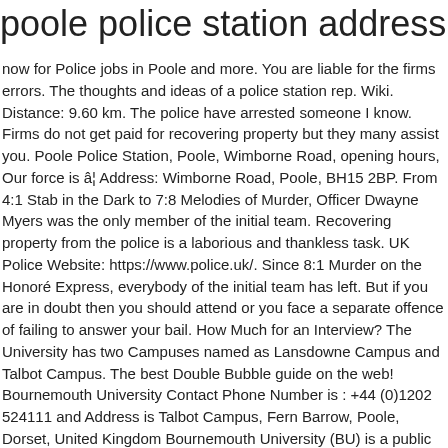poole police station address
now for Police jobs in Poole and more. You are liable for the firms errors. The thoughts and ideas of a police station rep. Wiki. Distance: 9.60 km. The police have arrested someone I know. Firms do not get paid for recovering property but they many assist you. Poole Police Station, Poole, Wimborne Road, opening hours, Our force is â¦ Address: Wimborne Road, Poole, BH15 2BP. From 4:1 Stab in the Dark to 7:8 Melodies of Murder, Officer Dwayne Myers was the only member of the initial team. Recovering property from the police is a laborious and thankless task. UK Police Website: https://www.police.uk/. Since 8:1 Murder on the Honoré Express, everybody of the initial team has left. But if you are in doubt then you should attend or you face a separate offence of failing to answer your bail. How Much for an Interview? The University has two Campuses named as Lansdowne Campus and Talbot Campus. The best Double Bubble guide on the web! Bournemouth University Contact Phone Number is : +44 (0)1202 524111 and Address is Talbot Campus, Fern Barrow, Poole, Dorset, United Kingdom Bournemouth University (BU) is a public University, located at Poole, Dorset, United Kingdom.The University was established in the year 1992. Search for Police near you. How do I do that? You can try calling 101 but you are unlikely to get very far. Queries